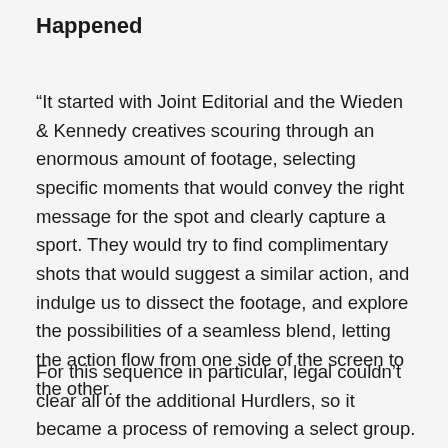Happened
“It started with Joint Editorial and the Wieden & Kennedy creatives scouring through an enormous amount of footage, selecting specific moments that would convey the right message for the spot and clearly capture a sport. They would try to find complimentary shots that would suggest a similar action, and indulge us to dissect the footage, and explore the possibilities of a seamless blend, letting the action flow from one side of the screen to the other.
For this sequence in particular, legal couldn’t clear all of the additional Hurdlers, so it became a process of removing a select group. All of the